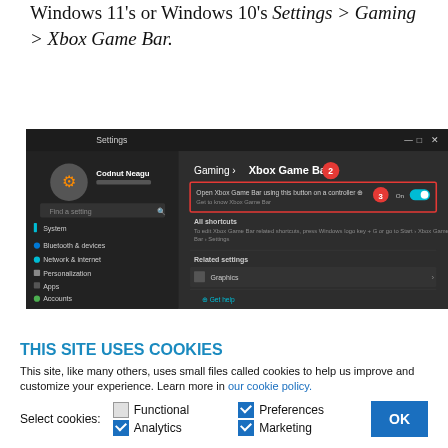Windows 11's or Windows 10's Settings > Gaming > Xbox Game Bar.
[Figure (screenshot): Windows 11 Settings > Gaming > Xbox Game Bar screen showing a dark-themed settings window. A user profile 'Codnut Neagu' is visible on the left sidebar with System, Bluetooth & devices, Network & internet, Personalization, Apps, Accounts menu items. The main panel shows 'Gaming > Xbox Game Bar' heading (annotated with red circle '2'), a red-bordered toggle for 'Open Xbox Game Bar using this button on a controller' set to On (annotated with red circle '3'), All shortcuts section, Related settings with Graphics option, and Get help link.]
THIS SITE USES COOKIES
This site, like many others, uses small files called cookies to help us improve and customize your experience. Learn more in our cookie policy.
Select cookies: Functional (unchecked), Preferences (checked), Analytics (checked), Marketing (checked)